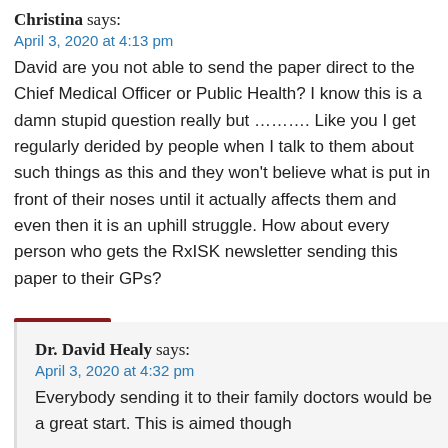Christina says:
April 3, 2020 at 4:13 pm
David are you not able to send the paper direct to the Chief Medical Officer or Public Health? I know this is a damn stupid question really but ………. Like you I get regularly derided by people when I talk to them about such things as this and they won't believe what is put in front of their noses until it actually affects them and even then it is an uphill struggle. How about every person who gets the RxISK newsletter sending this paper to their GPs?
Reply
Dr. David Healy says:
April 3, 2020 at 4:32 pm
Everybody sending it to their family doctors would be a great start. This is aimed though